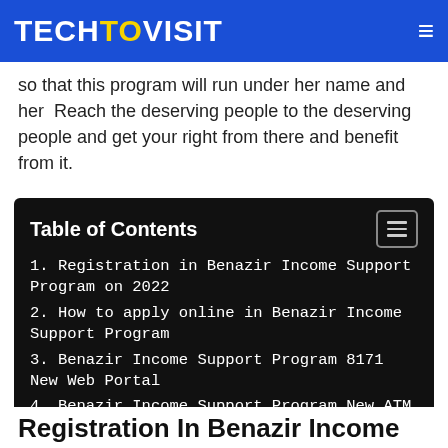TECHTOVISIT
so that this program will run under her name and her  Reach the deserving people to the deserving people and get your right from there and benefit from it.
| Table of Contents |
| --- |
| 1. Registration in Benazir Income Support Program on 2022 |
| 2. How to apply online in Benazir Income Support Program |
| 3. Benazir Income Support Program 8171 New Web Portal |
| 4. Benazir Income Support Program New ATM Card |
Registration In Benazir Income